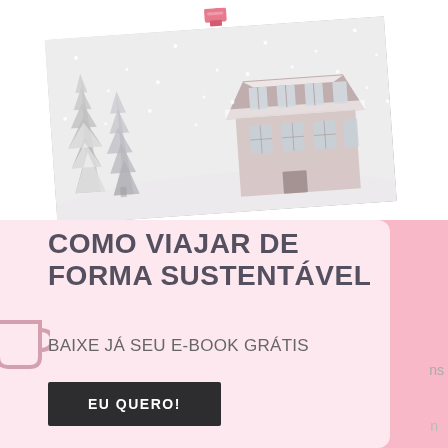[Figure (photo): Polaroid-style photo pinned with a pink binder clip showing a snowy winter scene with a chalet-style house and snow-covered evergreen trees, tilted slightly counterclockwise]
COMO VIAJAR DE FORMA SUSTENTÁVEL
BAIXE JÁ SEU E-BOOK GRÁTIS
EU QUERO!